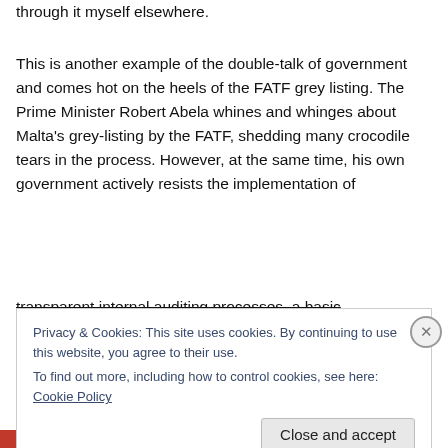through it myself elsewhere.
This is another example of the double-talk of government and comes hot on the heels of the FATF grey listing. The Prime Minister Robert Abela whines and whinges about Malta's grey-listing by the FATF, shedding many crocodile tears in the process. However, at the same time, his own government actively resists the implementation of transparent internal auditing processes, a basic
Privacy & Cookies: This site uses cookies. By continuing to use this website, you agree to their use.
To find out more, including how to control cookies, see here: Cookie Policy
Close and accept